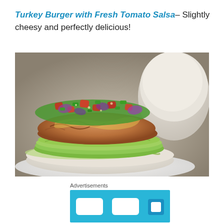Turkey Burger with Fresh Tomato Salsa– Slightly cheesy and perfectly delicious!
[Figure (photo): A turkey burger topped with fresh tomato salsa (diced tomatoes, red onion, jalapeño, cilantro), sitting on sliced avocado and lettuce on a white bun, served on a white plate, with the top bun visible in the background.]
Advertisements
[Figure (screenshot): Advertisement banner with light blue background showing two white rounded-rectangle buttons and a blue icon, partially visible at the bottom of the page.]